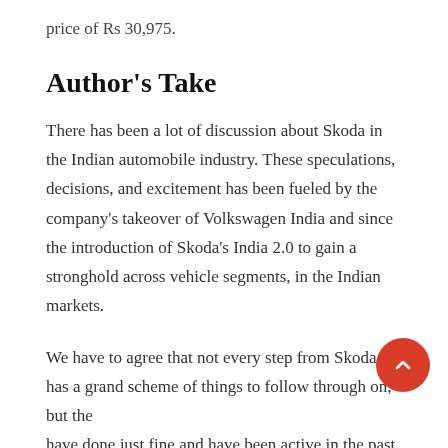price of Rs 30,975.
Author's Take
There has been a lot of discussion about Skoda in the Indian automobile industry. These speculations, decisions, and excitement has been fueled by the company's takeover of Volkswagen India and since the introduction of Skoda's India 2.0 to gain a stronghold across vehicle segments, in the Indian markets.
We have to agree that not every step from Skoda has a grand scheme of things to follow through on, but they have done just fine and have been active in the past few months as well. Initiative and packages like these will do further good to the company's already positive image regarding fantastic warranty schemes on offer.